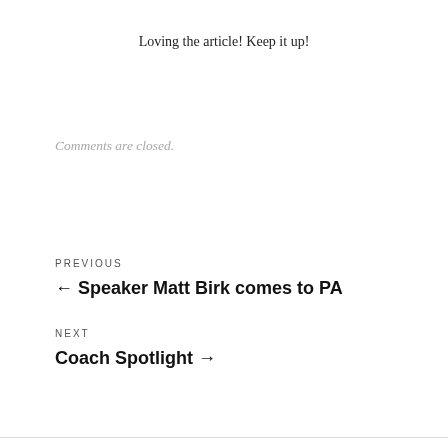Loving the article! Keep it up!
Comments are closed.
PREVIOUS
← Speaker Matt Birk comes to PA
NEXT
Coach Spotlight →